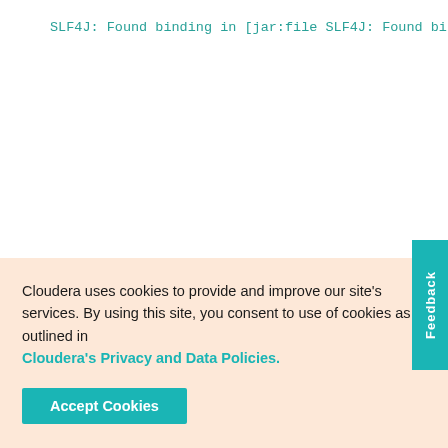SLF4J: Found binding in [jar:file
SLF4J: Found binding in [jar:file
SLF4J: See http://www.slf4j.org/co
SLF4J: Actual binding is of type
Metastore connection URL:
Metastore Connection Driver :
Metastore connection User:
Starting metastore schema initia
org.apache.hadoop.hive.metastore
org.apache.hadoop.hive.metastore
    at org.apache.hadoop.hiv
    at org.apache.hive.beeli
Cloudera uses cookies to provide and improve our site's services. By using this site, you consent to use of cookies as outlined in Cloudera's Privacy and Data Policies.
Accept Cookies